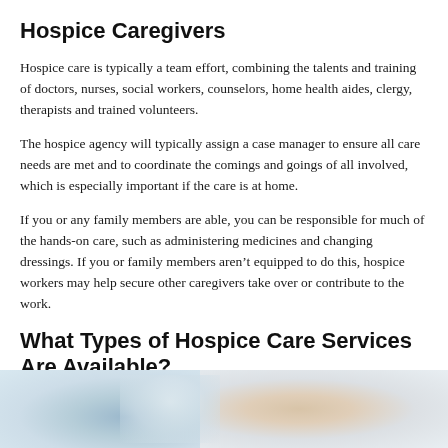Hospice Caregivers
Hospice care is typically a team effort, combining the talents and training of doctors, nurses, social workers, counselors, home health aides, clergy, therapists and trained volunteers.
The hospice agency will typically assign a case manager to ensure all care needs are met and to coordinate the comings and goings of all involved, which is especially important if the care is at home.
If you or any family members are able, you can be responsible for much of the hands-on care, such as administering medicines and changing dressings. If you or family members aren’t equipped to do this, hospice workers may help secure other caregivers take over or contribute to the work.
What Types of Hospice Care Services Are Available?
[Figure (photo): A soft-focus photograph showing hospice care — blurred image of a caregiver and patient, with muted blue and warm tones.]